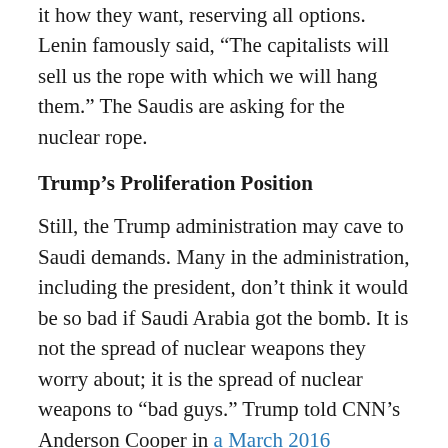it how they want, reserving all options. Lenin famously said, “The capitalists will sell us the rope with which we will hang them.” The Saudis are asking for the nuclear rope.
Trump’s Proliferation Position
Still, the Trump administration may cave to Saudi demands. Many in the administration, including the president, don’t think it would be so bad if Saudi Arabia got the bomb. It is not the spread of nuclear weapons they worry about; it is the spread of nuclear weapons to “bad guys.” Trump told CNN’s Anderson Cooper in a March 2016 interview that it didn’t matter if Saudi Arabia got nuclear weapons because “it was going to happen anyway.” Cooper asked him, “So if you said, Japan, you get nuclear weapons, South Korea, you as well, and Saudi Arabia…